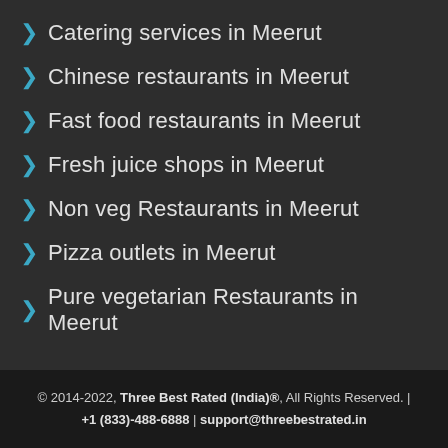Catering services in Meerut
Chinese restaurants in Meerut
Fast food restaurants in Meerut
Fresh juice shops in Meerut
Non veg Restaurants in Meerut
Pizza outlets in Meerut
Pure vegetarian Restaurants in Meerut
© 2014-2022, Three Best Rated (India)®, All Rights Reserved. | +1 (833)-488-6888 | support@threebestrated.in